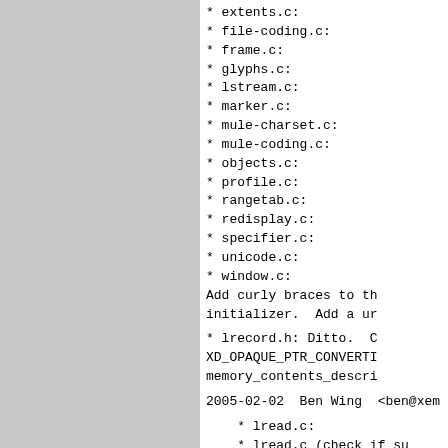* extents.c:
* file-coding.c:
* frame.c:
* glyphs.c:
* lstream.c:
* marker.c:
* mule-charset.c:
* mule-coding.c:
* objects.c:
* profile.c:
* rangetab.c:
* redisplay.c:
* specifier.c:
* unicode.c:
* window.c:
Add curly braces to th initializer.  Add a ur
* lrecord.h: Ditto.  C XD_OPAQUE_PTR_CONVERTI memory_contents_descri
2005-02-02  Ben Wing  <ben@xem
* lread.c:
* lread.c (check_if_su
* lread.c (Fload_inter
* lread.c (locate_file
* lread.c (readevalloc
* lread.c (syms_of_lre